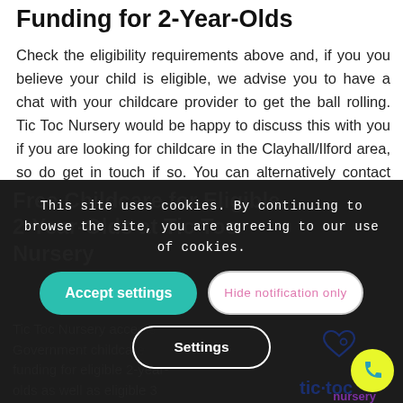Funding for 2-Year-Olds
Check the eligibility requirements above and, if you you believe your child is eligible, we advise you to have a chat with your childcare provider to get the ball rolling. Tic Toc Nursery would be happy to discuss this with you if you are looking for childcare in the Clayhall/Ilford area, so do get in touch if so. You can alternatively contact your local council.
This site uses cookies. By continuing to browse the site, you are agreeing to our use of cookies.
Accept settings
Hide notification only
Settings
Free Childcare for Eligible 2-Year-Olds at Tic Toc Nursery
Tic Toc Nursery accepts Government childcare funding for eligible 2-year-olds as well as eligible 3